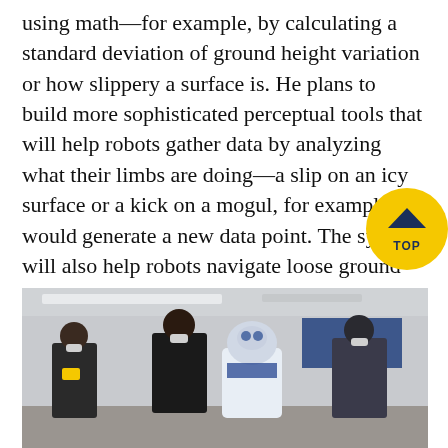using math—for example, by calculating a standard deviation of ground height variation or how slippery a surface is. He plans to build more sophisticated perceptual tools that will help robots gather data by analyzing what their limbs are doing—a slip on an icy surface or a kick on a mogul, for example, would generate a new data point. The system will also help robots navigate loose ground and moving objects, such as rolling branches.
[Figure (photo): People wearing masks standing with a large bipedal robot in what appears to be a robotics laboratory or workshop.]